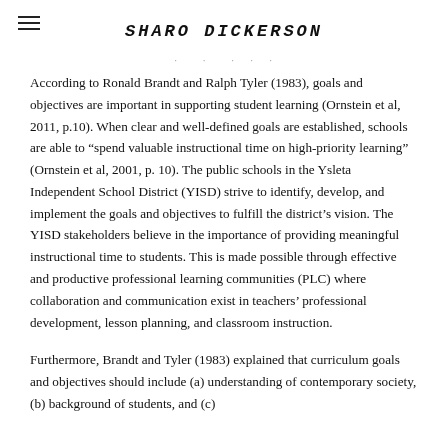SHARO DICKERSON
According to Ronald Brandt and Ralph Tyler (1983), goals and objectives are important in supporting student learning (Ornstein et al, 2011, p.10). When clear and well-defined goals are established, schools are able to “spend valuable instructional time on high-priority learning” (Ornstein et al, 2001, p. 10). The public schools in the Ysleta Independent School District (YISD) strive to identify, develop, and implement the goals and objectives to fulfill the district’s vision. The YISD stakeholders believe in the importance of providing meaningful instructional time to students. This is made possible through effective and productive professional learning communities (PLC) where collaboration and communication exist in teachers’ professional development, lesson planning, and classroom instruction.
Furthermore, Brandt and Tyler (1983) explained that curriculum goals and objectives should include (a) understanding of contemporary society, (b) background of students, and (c)